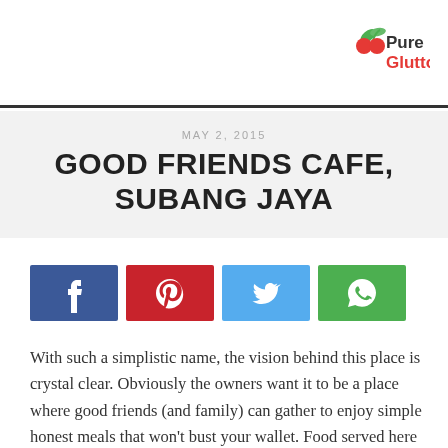Pure Glutton
MAY 2, 2015
GOOD FRIENDS CAFE, SUBANG JAYA
[Figure (infographic): Social sharing buttons: Facebook, Pinterest, Twitter, WhatsApp]
With such a simplistic name, the vision behind this place is crystal clear. Obviously the owners want it to be a place where good friends (and family) can gather to enjoy simple honest meals that won't bust your wallet. Food served here has a “homey” feel and the chefs are geared and passionate